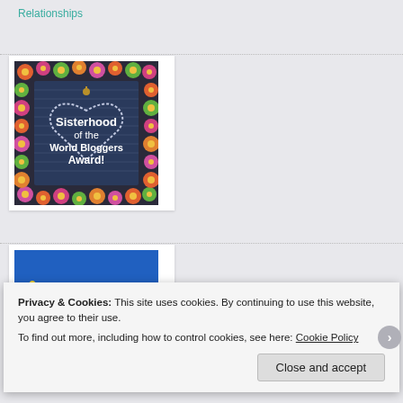Relationships
[Figure (illustration): Sisterhood of the World Bloggers Award badge — denim fabric with floral border and heart shape with text]
[Figure (photo): Yellow daffodils/flowers on blue background, partially visible]
Privacy & Cookies: This site uses cookies. By continuing to use this website, you agree to their use. To find out more, including how to control cookies, see here: Cookie Policy